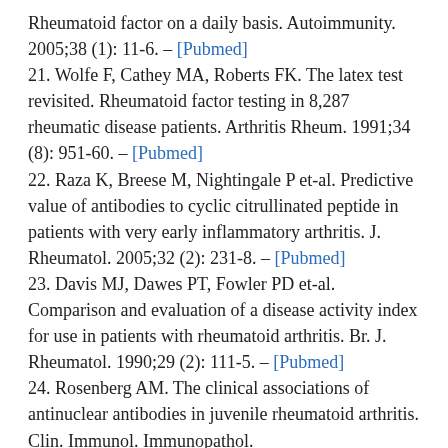Rheumatoid factor on a daily basis. Autoimmunity. 2005;38 (1): 11-6. – [Pubmed]
21. Wolfe F, Cathey MA, Roberts FK. The latex test revisited. Rheumatoid factor testing in 8,287 rheumatic disease patients. Arthritis Rheum. 1991;34 (8): 951-60. – [Pubmed]
22. Raza K, Breese M, Nightingale P et-al. Predictive value of antibodies to cyclic citrullinated peptide in patients with very early inflammatory arthritis. J. Rheumatol. 2005;32 (2): 231-8. – [Pubmed]
23. Davis MJ, Dawes PT, Fowler PD et-al. Comparison and evaluation of a disease activity index for use in patients with rheumatoid arthritis. Br. J. Rheumatol. 1990;29 (2): 111-5. – [Pubmed]
24. Rosenberg AM. The clinical associations of antinuclear antibodies in juvenile rheumatoid arthritis. Clin. Immunol. Immunopathol.